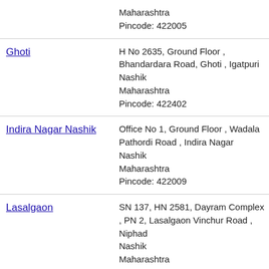| Location | Address |
| --- | --- |
|  | Maharashtra
Pincode: 422005 |
| Ghoti | H No 2635, Ground Floor , Bhandardara Road, Ghoti , Igatpuri
Nashik
Maharashtra
Pincode: 422402 |
| Indira Nagar Nashik | Office No 1, Ground Floor , Wadala Pathordi Road , Indira Nagar
Nashik
Maharashtra
Pincode: 422009 |
| Lasalgaon | SN 137, HN 2581, Dayram Complex , PN 2, Lasalgaon Vinchur Road , Niphad
Nashik
Maharashtra
Pincode: 422306 |
| Mahatma Nagar | SN 7 to 9, Archit Royale Apartment , 100 feet Road , |